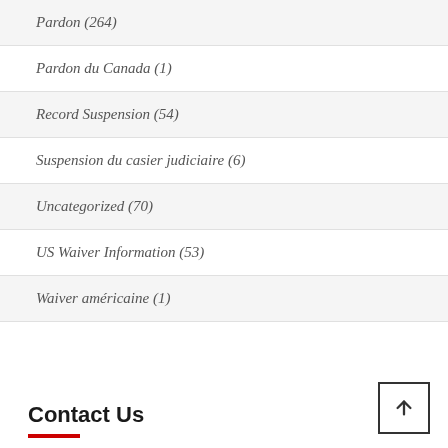Pardon (264)
Pardon du Canada (1)
Record Suspension (54)
Suspension du casier judiciaire (6)
Uncategorized (70)
US Waiver Information (53)
Waiver américaine (1)
Contact Us